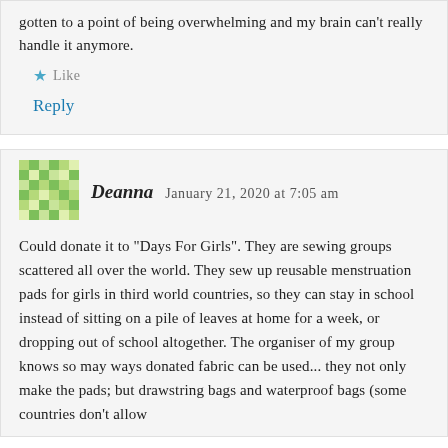gotten to a point of being overwhelming and my brain can't really handle it anymore.
Like
Reply
[Figure (illustration): Avatar/gravatar image with a geometric green and white pixel pattern, approximately 60x60 pixels]
Deanna   January 21, 2020 at 7:05 am
Could donate it to "Days For Girls". They are sewing groups scattered all over the world. They sew up reusable menstruation pads for girls in third world countries, so they can stay in school instead of sitting on a pile of leaves at home for a week, or dropping out of school altogether. The organiser of my group knows so may ways donated fabric can be used... they not only make the pads; but drawstring bags and waterproof bags (some countries don't allow